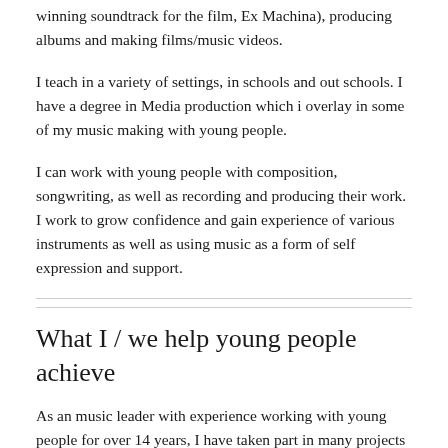winning soundtrack for the film, Ex Machina), producing albums and making films/music videos.
I teach in a variety of settings, in schools and out schools. I have a degree in Media production which i overlay in some of my music making with young people.
I can work with young people with composition, songwriting, as well as recording and producing their work. I work to grow confidence and gain experience of various instruments as well as using music as a form of self expression and support.
What I / we help young people achieve
As an music leader with experience working with young people for over 14 years, I have taken part in many projects and initiatives which have had a profound